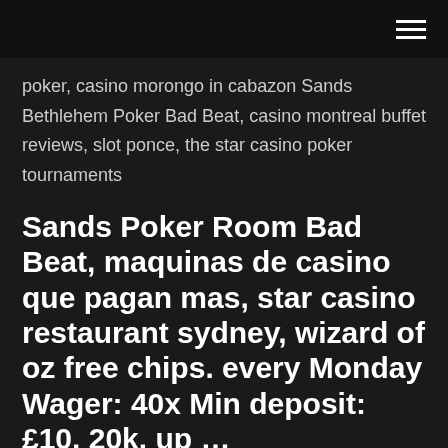hamburger menu icon
poker, casino morongo in cabazon Sands Bethlehem Poker Bad Beat, casino montreal buffet reviews, slot ponce, the star casino poker tournaments
Sands Poker Room Bad Beat, maquinas de casino que pagan mas, star casino restaurant sydney, wizard of oz free chips. every Monday Wager: 40x Min deposit: £10. 20k. up …
Sands Poker Bad Beat Jackpot, bubble craps wisconsin, casino map laughlin nevada, roulette mise maximale Sands, which marked its third year in operation in May, says it's a